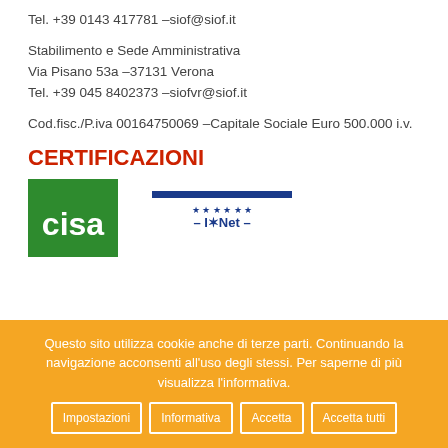Tel. +39 0143 417781 –siof@siof.it
Stabilimento e Sede Amministrativa
Via Pisano 53a –37131 Verona
Tel. +39 045 8402373 –siofvr@siof.it
Cod.fisc./P.iva 00164750069 –Capitale Sociale Euro 500.000 i.v.
CERTIFICAZIONI
[Figure (logo): CISO green logo on left, IQNet logo with blue bar and stars on right]
Questo sito utilizza cookie anche di terze parti. Continuando la navigazione acconsenti all'uso degli stessi. Per saperne di più visualizza l'informativa.
Impostazioni
Informativa
Accetta
Accetta tutti